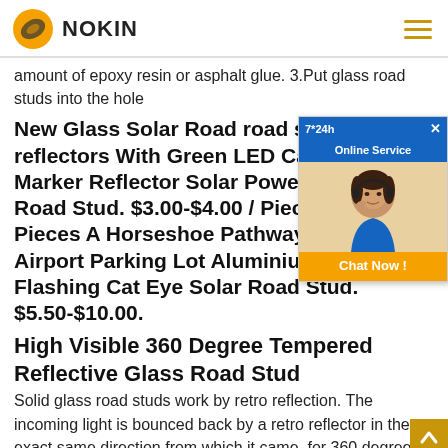NOKIN
amount of epoxy resin or asphalt glue. 3.Put glass road studs into the hole
New Glass Solar Road road stud reflectors With Green LED Cat Eye Road Marker Reflector Solar Powered Flashing Road Stud. $3.00-$4.00 / Piece. 100 Pieces A Horseshoe Pathway Driveway Airport Parking Lot Aluminium PC 6LED Flashing Cat Eye Solar Road Stud. $5.50-$10.00.
[Figure (photo): Online chat service popup advertisement with a customer service representative wearing a headset. Blue header with '7*24h Online Service' text, photo of woman, and 'Chat Now!' orange button.]
High Visible 360 Degree Tempered Reflective Glass Road Stud
Solid glass road studs work by retro reflection. The incoming light is bounced back by a retro reflector in the exact same direction from which it came, for 360 degrees. This is important fic, as the reflector reflects the light of vehicles from every angle back to the road users, which guides or alarms them in